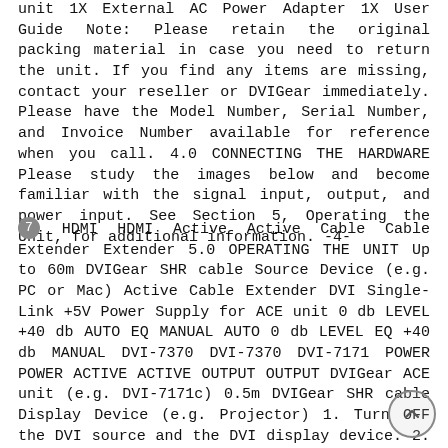unit 1X External AC Power Adapter 1X User Guide Note: Please retain the original packing material in case you need to return the unit. If you find any items are missing, contact your reseller or DVIGear immediately. Please have the Model Number, Serial Number, and Invoice Number available for reference when you call. 4.0 CONNECTING THE HARDWARE Please study the images below and become familiar with the signal input, output, and power input. See Section 5, Operating the Unit, for additional information. -4-
7 HDMI HDMI Active Active Cable Cable Extender Extender 5.0 OPERATING THE UNIT Up to 60m DVIGear SHR cable Source Device (e.g. PC or Mac) Active Cable Extender DVI Single-Link +5V Power Supply for ACE unit 0 db LEVEL +40 db AUTO EQ MANUAL AUTO 0 db LEVEL EQ +40 db MANUAL DVI-7370 DVI-7370 DVI-7171 POWER POWER ACTIVE ACTIVE OUTPUT OUTPUT DVIGear ACE unit (e.g. DVI-7171c) 0.5m DVIGear SHR cable Display Device (e.g. Projector) 1. Turn OFF the DVI source and the DVI display device. 2. Connect a high quality DVI (long) cable between the output of the DVI source and the INPUT port of the ACE unit. 3. Connect a high quality DVI